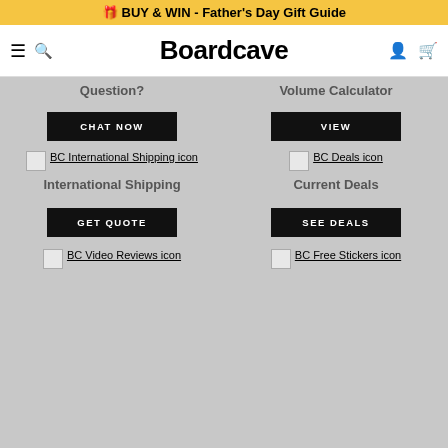🎁 BUY & WIN - Father's Day Gift Guide
Boardcave
Question?
Volume Calculator
CHAT NOW
VIEW
[Figure (illustration): BC International Shipping icon]
[Figure (illustration): BC Deals icon]
International Shipping
Current Deals
GET QUOTE
SEE DEALS
[Figure (illustration): BC Video Reviews icon]
[Figure (illustration): BC Free Stickers icon]